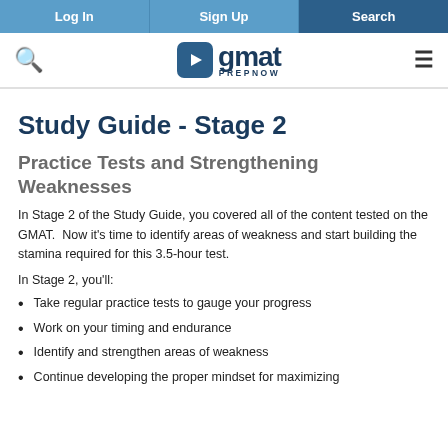Log In | Sign Up | Search
[Figure (logo): GMAT Prep Now logo with search icon and hamburger menu]
Study Guide - Stage 2
Practice Tests and Strengthening Weaknesses
In Stage 2 of the Study Guide, you covered all of the content tested on the GMAT. Now it's time to identify areas of weakness and start building the stamina required for this 3.5-hour test.
In Stage 2, you'll:
Take regular practice tests to gauge your progress
Work on your timing and endurance
Identify and strengthen areas of weakness
Continue developing the proper mindset for maximizing